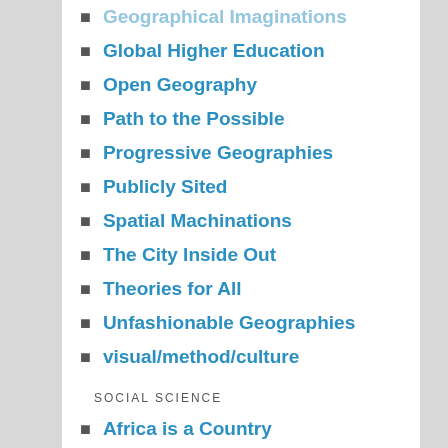Geographical Imaginations
Global Higher Education
Open Geography
Path to the Possible
Progressive Geographies
Publicly Sited
Spatial Machinations
The City Inside Out
Theories for All
Unfashionable Geographies
visual/method/culture
SOCIAL SCIENCE
Africa is a Country
African Arguments
Anthrodendum
Carceral Notebooks
Collective Behavior and Social Movements (ASA)
Contexts: ASA Blogsite
Cost of Living
Cultural Anthropology